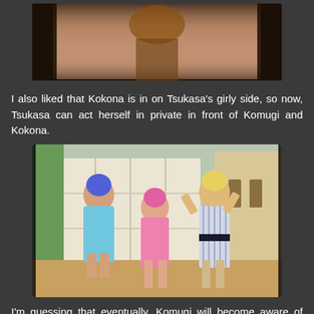[Figure (screenshot): Anime screenshot showing a character from behind/above, with brown clothing and blonde hair visible, cropped at top of page]
I also liked that Kokona is in on Tsukasa's girly side, so now, Tsukasa can act herself in private in front of Komugi and Kokona.
[Figure (screenshot): Anime screenshot showing three characters in a Japanese-style room: a blue-haired girl in a light blue dress, a pink-haired girl in a pink outfit, and a blonde character in a striped yukata with hands on head]
I'm guessing that eventually, Komugi will become aware of Tsukasa's feelings for Yuu-nii, and I would guess she'd be down for them being together. This is the only romance element in the story, so I hope the writers go for it.